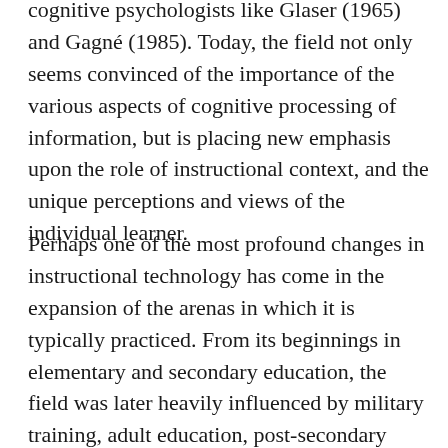cognitive psychologists like Glaser (1965) and Gagné (1985). Today, the field not only seems convinced of the importance of the various aspects of cognitive processing of information, but is placing new emphasis upon the role of instructional context, and the unique perceptions and views of the individual learner.
Perhaps one of the most profound changes in instructional technology has come in the expansion of the arenas in which it is typically practiced. From its beginnings in elementary and secondary education, the field was later heavily influenced by military training, adult education, post-secondary education, and much of today's activity is in the area of private sector employee training. Consequently, there is increased